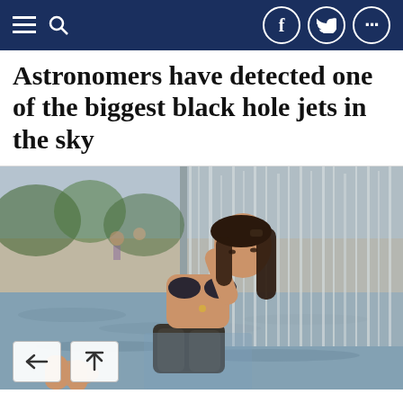Navigation bar with hamburger menu, search icon, Facebook, Twitter, and more (…) social share buttons
Astronomers have detected one of the biggest black hole jets in the sky
[Figure (photo): A woman in a dark swimsuit sitting beneath a waterfall or fountain edge, leaning back with hands behind her head, eyes closed, water cascading around her. Outdoor setting with blurred background showing trees and people.]
Back and scroll-to-top navigation buttons